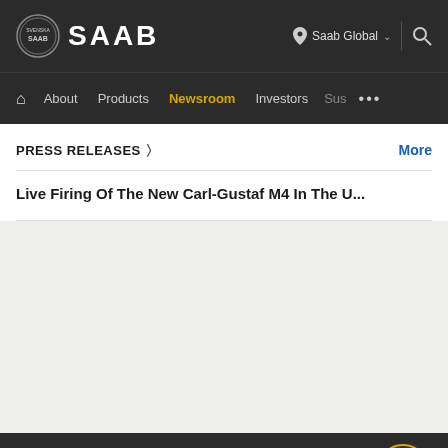[Figure (logo): Saab logo with circular emblem and SAAB wordmark in white on dark background]
About  Products  Newsroom  Investors  Sus  ...
PRESS RELEASES
More
Live Firing Of The New Carl-Gustaf M4 In The U...
[Figure (other): Grey content area placeholder]
We use cookies.